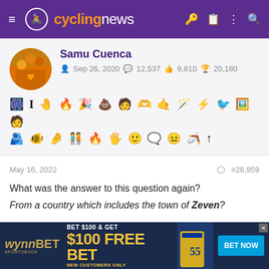cyclingnews
Samu Cuenca
Sep 26, 2020  12,537  9,810  20,180
[Figure (other): User profile avatar showing crowd scene]
[Figure (other): Row of achievement/badge emoji icons]
May 16, 2022  #26,959
What was the answer to this question again?
From a country which includes the town of Zeven?

Was this person active 14 years ago?
[Figure (other): WynnBet advertisement: BET $100 & GET $100 FREE BET NEW CUSTOMERS ONLY, BET NOW button]